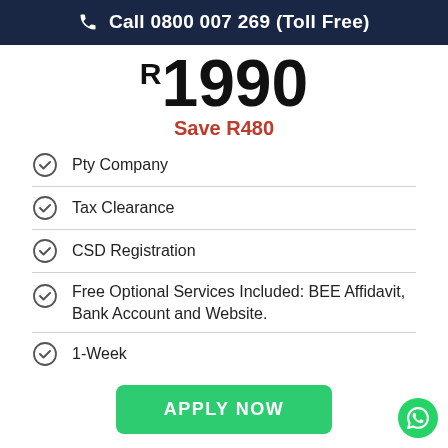Call 0800 007 269 (Toll Free)
R1990
Save R480
Pty Company
Tax Clearance
CSD Registration
Free Optional Services Included: BEE Affidavit, Bank Account and Website.
1-Week
APPLY NOW